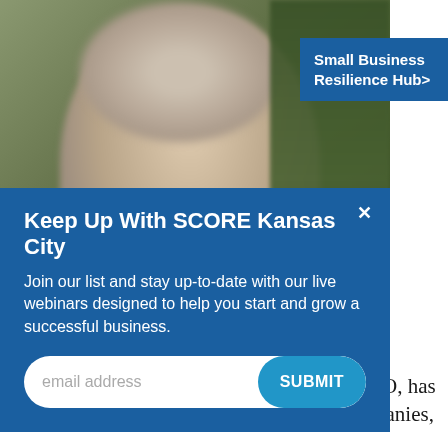[Figure (photo): Close-up photo of an elderly man with white/grey hair and glasses, wearing a striped shirt, with green foliage in the background. A blue overlay modal dialog appears on top of the photo.]
Small Business Resilience Hub>
Keep Up With SCORE Kansas City
Join our list and stay up-to-date with our live webinars designed to help you start and grow a successful business.
email address
SUBMIT
Ed is an established healthcare company CEO, has been active in the sale and purchase of companies,